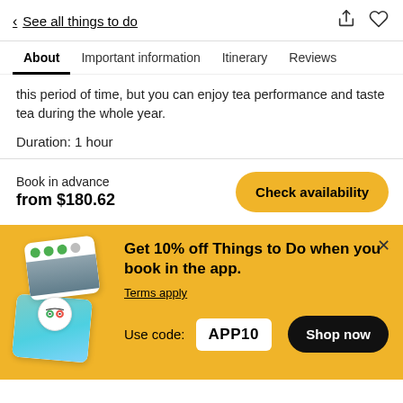< See all things to do
About | Important information | Itinerary | Reviews
this period of time, but you can enjoy tea performance and taste tea during the whole year.
Duration: 1 hour
Book in advance
from $180.62
Get 10% off Things to Do when you book in the app.
Terms apply
Use code: APP10
Shop now